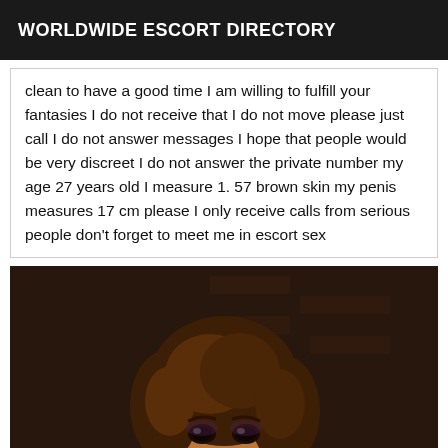WORLDWIDE ESCORT DIRECTORY
clean to have a good time I am willing to fulfill your fantasies I do not receive that I do not move please just call I do not answer messages I hope that people would be very discreet I do not answer the private number my age 27 years old I measure 1. 57 brown skin my penis measures 17 cm please I only receive calls from serious people don't forget to meet me in escort sex
[Figure (photo): Portrait photo of a person with curly brown hair, dark skin, wearing dangling earrings, posing against a dark brick wall background]